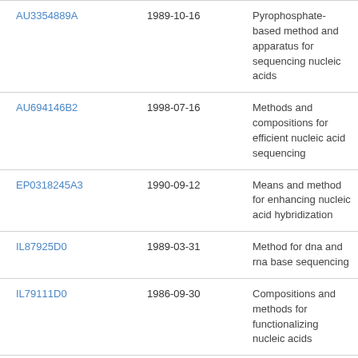| AU3354889A | 1989-10-16 | Pyrophosphate-based method and apparatus for sequencing nucleic acids |
| AU694146B2 | 1998-07-16 | Methods and compositions for efficient nucleic acid sequencing |
| EP0318245A3 | 1990-09-12 | Means and method for enhancing nucleic acid hybridization |
| IL87925D0 | 1989-03-31 | Method for dna and rna base sequencing |
| IL79111D0 | 1986-09-30 | Compositions and methods for functionalizing nucleic acids |
| AU5163090A | 1990-09-26 | Synthetic plant genes and method for preparation |
| AU4068393A | 1993-12-13 | Method of sequencing |